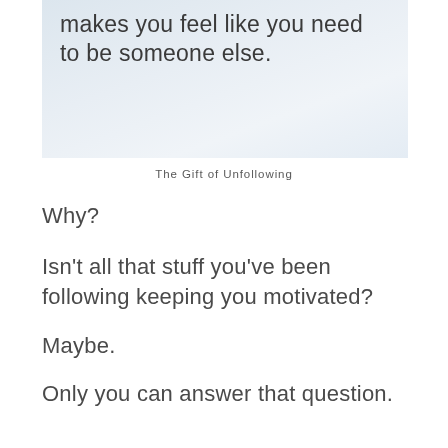[Figure (illustration): Light blue-grey gradient background with dark grey text reading 'makes you feel like you need to be someone else.']
The Gift of Unfollowing
Why?
Isn't all that stuff you've been following keeping you motivated?
Maybe.
Only you can answer that question.